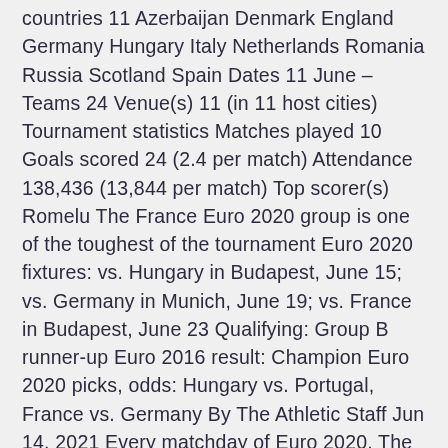countries 11 Azerbaijan Denmark England Germany Hungary Italy Netherlands Romania Russia Scotland Spain Dates 11 June – Teams 24 Venue(s) 11 (in 11 host cities) Tournament statistics Matches played 10 Goals scored 24 (2.4 per match) Attendance 138,436 (13,844 per match) Top scorer(s) Romelu The France Euro 2020 group is one of the toughest of the tournament Euro 2020 fixtures: vs. Hungary in Budapest, June 15; vs. Germany in Munich, June 19; vs. France in Budapest, June 23 Qualifying: Group B runner-up Euro 2016 result: Champion Euro 2020 picks, odds: Hungary vs. Portugal, France vs. Germany By The Athletic Staff Jun 14, 2021 Every matchday of Euro 2020, The Athletic's soccer writers will make their picks straight up.